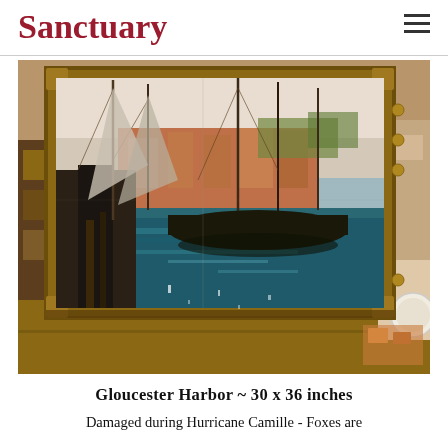Sanctuary
[Figure (photo): A framed oil painting of Gloucester Harbor depicting sailing boats docked in a harbor with buildings visible in the background, shown sitting in what appears to be an antique shop or gallery setting on a wooden surface.]
Gloucester Harbor ~ 30 x 36 inches
Damaged during Hurricane Camille - Foxes are Restoring